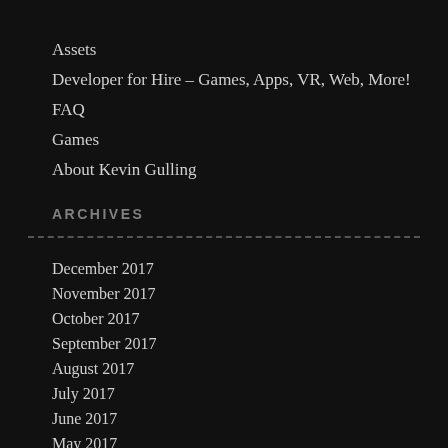Assets
Developer for Hire – Games, Apps, VR, Web, More!
FAQ
Games
About Kevin Gulling
ARCHIVES
December 2017
November 2017
October 2017
September 2017
August 2017
July 2017
June 2017
May 2017
April 2017